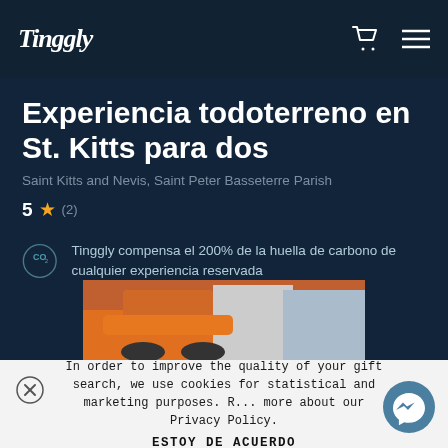Tinggly navigation bar with logo, cart icon, and menu icon
Experiencia todoterreno en St. Kitts para dos
Saint Kitts and Nevis, Saint Peter Basseterre Parish
5 ★ (2)
Tinggly compensa el 200% de la huella de carbono de cualquier experiencia reservada
[Figure (photo): Photo of people on an orange ATV/quad bike]
In order to improve the quality of your gift search, we use cookies for statistical and marketing purposes. R... more about our Privacy Policy.
ESTOY DE ACUERDO